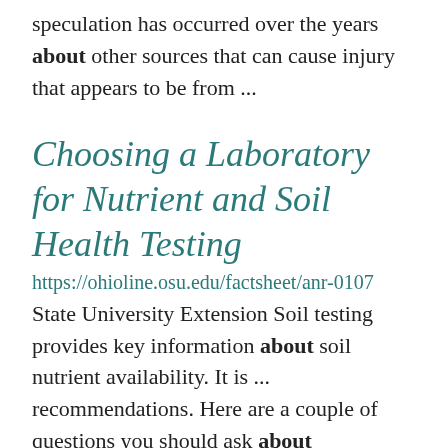speculation has occurred over the years about other sources that can cause injury that appears to be from ...
Choosing a Laboratory for Nutrient and Soil Health Testing
https://ohioline.osu.edu/factsheet/anr-0107
State University Extension Soil testing provides key information about soil nutrient availability. It is ... recommendations. Here are a couple of questions you should ask about recommendations. First, what is the basis of ... days of receiving your soil. If getting data back quickly is essential to you, ask